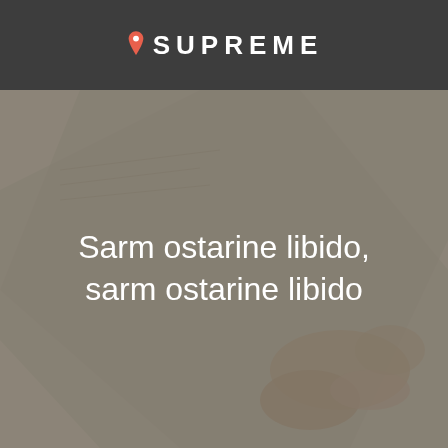[Figure (logo): Supreme logo with map pin icon and text SUPREME in white on dark grey header background]
[Figure (photo): Background photo of hands holding a map or book, darkened with grey overlay]
Sarm ostarine libido, sarm ostarine libido